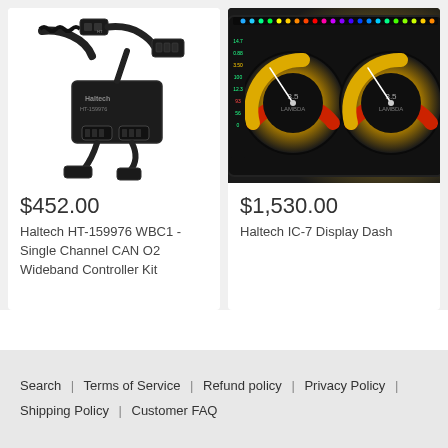[Figure (photo): Haltech HT-159976 WBC1 wideband controller module with cables and connectors on white background]
$452.00
Haltech HT-159976 WBC1 - Single Channel CAN O2 Wideband Controller Kit
[Figure (photo): Haltech IC-7 Display Dash with colorful LED strip on top and two gauge displays on dark background]
$1,530.00
Haltech IC-7 Display Dash
Search | Terms of Service | Refund policy | Privacy Policy | Shipping Policy | Customer FAQ